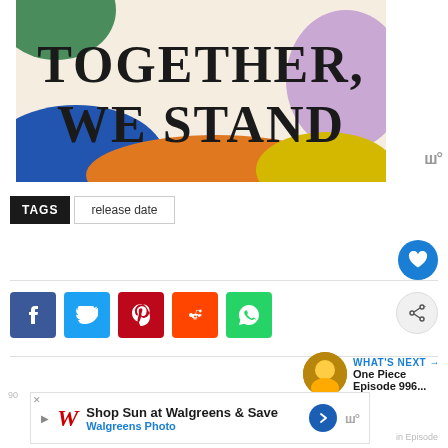[Figure (illustration): Colorful banner image with text 'TOGETHER, WE STAND' in bold serif font on a cream background with abstract color blobs (green top-left, blue and orange bottom-left, purple top-right, yellow bottom-right)]
TAGS  release date
[Figure (other): Heart/like button (blue circle with white heart icon)]
[Figure (other): Social sharing buttons: Facebook (f), Twitter (bird), Pinterest (p), Reddit (alien), WhatsApp (phone)]
[Figure (other): Share button (grey circle with share icon)]
WHAT'S NEXT → One Piece Episode 996...
[Figure (advertisement): Walgreens ad: 'Shop Sun at Walgreens & Save' / 'Walgreens Photo']